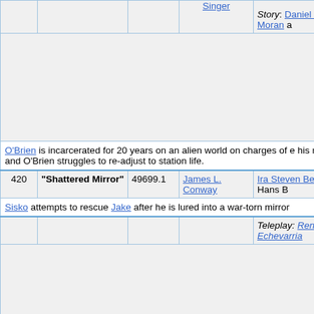| # | Title | Stardate | Director | Writer |
| --- | --- | --- | --- | --- |
|  | Singer |  |  | Story: Daniel Keys Moran a... |
|  | O'Brien is incarcerated for 20 years on an alien world on charges of e... his mind, and O'Brien struggles to re-adjust to station life. |  |  |  |
| 420 | "Shattered Mirror" | 49699.1 | James L. Conway | Ira Steven Behr and Hans B... |
|  | Sisko attempts to rescue Jake after he is lured into a war-torn mirror ... |  |  |  |
|  |  |  |  | Teleplay: René Echevarria |